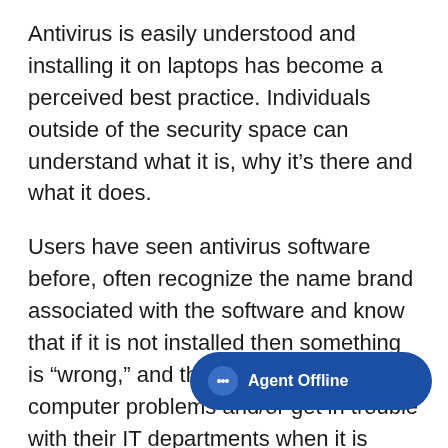Antivirus is easily understood and installing it on laptops has become a perceived best practice. Individuals outside of the security space can understand what it is, why it's there and what it does.
Users have seen antivirus software before, often recognize the name brand associated with the software and know that if it is not installed then something is “wrong,” and they could have computer problems and/or get in trouble with their IT departments when it is discovered that the software is missing.
Yet these very same people often fail to
[Figure (other): Agent Offline chat button overlay in the bottom right corner]